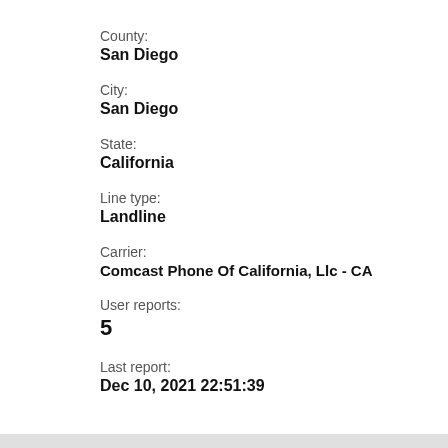County:
San Diego
City:
San Diego
State:
California
Line type:
Landline
Carrier:
Comcast Phone Of California, Llc - CA
User reports:
5
Last report:
Dec 10, 2021 22:51:39